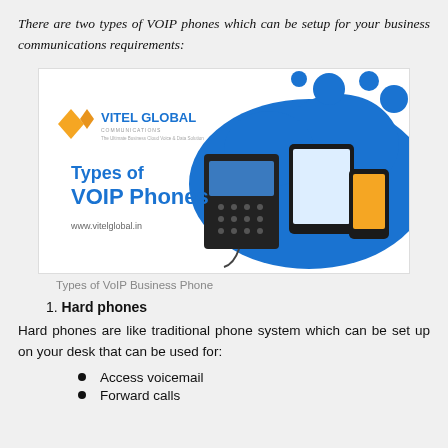There are two types of VOIP phones which can be setup for your business communications requirements:
[Figure (infographic): Vitel Global Communications infographic showing 'Types of VOIP Phones' with images of a desk phone, tablet, and smartphone on a blue cloud background. URL: www.vitelglobal.in]
Types of VoIP Business Phone
1. Hard phones
Hard phones are like traditional phone system which can be set up on your desk that can be used for:
Access voicemail
Forward calls